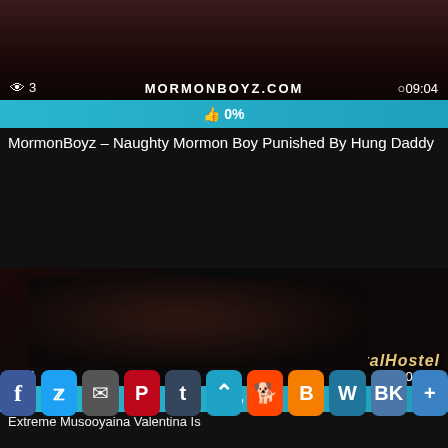[Figure (screenshot): Top video thumbnail showing dark background with partial figure, watermark mormonboyz.com, view count 3, duration 09:04]
👁 3
MORMONBOYZ.COM
09:04
👍 0%
MormonBoyz – Naughty Mormon Boy Punished By Hung Daddy
[Figure (screenshot): Second video thumbnail dark scene with figures, BrutalHostel watermark, view count 1, duration 08:00]
👁 1
08:00
BrutalHostel
👍 0%
Extreme Mus...oo...y...a...ina Valentina Is